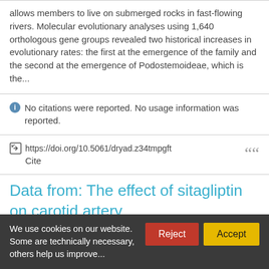allows members to live on submerged rocks in fast-flowing rivers. Molecular evolutionary analyses using 1,640 orthologous gene groups revealed two historical increases in evolutionary rates: the first at the emergence of the family and the second at the emergence of Podostemoideae, which is the...
No citations were reported. No usage information was reported.
https://doi.org/10.5061/dryad.z34tmpgft  Cite
Data from: The effect of sitagliptin on carotid artery
We use cookies on our website. Some are technically necessary, others help us improve your website experience.